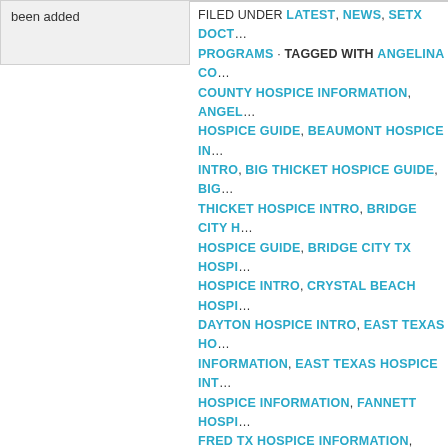been added
FILED UNDER LATEST, NEWS, SETX DOCTOR PROGRAMS · TAGGED WITH ANGELINA COUNTY HOSPICE INFORMATION, ANGELINA COUNTY HOSPICE GUIDE, BEAUMONT HOSPICE INTRO, BIG THICKET HOSPICE GUIDE, BIG THICKET HOSPICE INTRO, BRIDGE CITY HOSPICE GUIDE, BRIDGE CITY TX HOSPICE INTRO, CRYSTAL BEACH HOSPICE INTRO, DAYTON HOSPICE INTRO, EAST TEXAS HOSPICE INFORMATION, EAST TEXAS HOSPICE INTRO, FANNETT HOSPICE INFORMATION, FRED TX HOSPICE INFORMATION, FRED TX HOSPICE GUIDE, GOLDEN TRIANGLE HOSPICE INTRO, GROVES HOSPICE GUIDE, GROVES HOSPICE INTRO, HAMPSHIRE HOSPICE INFORMATION, HAMPSHIRE HOSPICE INTRO, HARDIN COUNTY HOSPICE INFORMATION, HARRIS COUNTY HOSPICE GUIDE, HARRIS COUNTY HOSPICE INTRO, HOUSTON AREA HOSPICE GUIDE, HOUSTON AREA HOSPICE INTRO, JASPER COUNTY HOSPICE INFORMATION, JASPER COUNTY HOSPICE GUIDE, JASPER HOSPICE INTRO